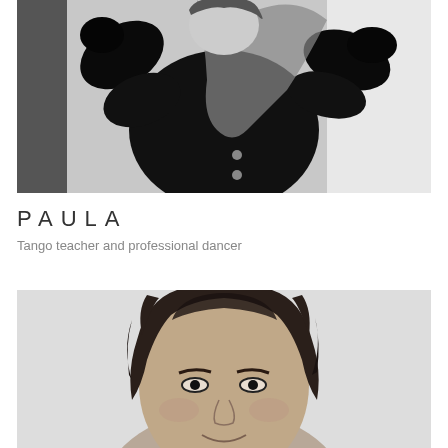[Figure (photo): Black and white portrait photo of Paula, a woman with long hair wearing a black velvet top, arms raised with hands near her head, dynamic pose]
PAULA
Tango teacher and professional dancer
[Figure (photo): Black and white close-up portrait photo of a woman with curly dark hair, smiling slightly, looking upward]